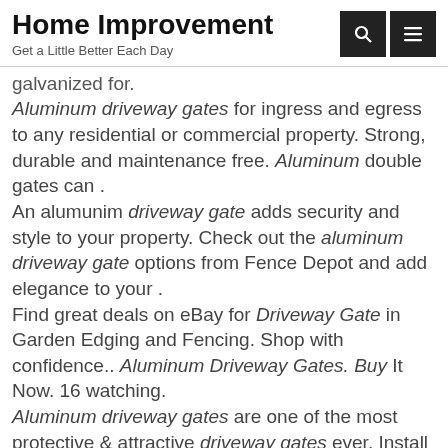Home Improvement
Get a Little Better Each Day
galvanized for.
Aluminum driveway gates for ingress and egress to any residential or commercial property. Strong, durable and maintenance free. Aluminum double gates can .
An alumunim driveway gate adds security and style to your property. Check out the aluminum driveway gate options from Fence Depot and add elegance to your .
Find great deals on eBay for Driveway Gate in Garden Edging and Fencing. Shop with confidence.. Aluminum Driveway Gates. Buy It Now. 16 watching.
Aluminum driveway gates are one of the most protective & attractive driveway gates ever. Install it today to give the best security and looks for your home.
GateCrafters Solar Sale. Below you'll see a quality GateCrafters 6061-T6 grade aluminum driveway